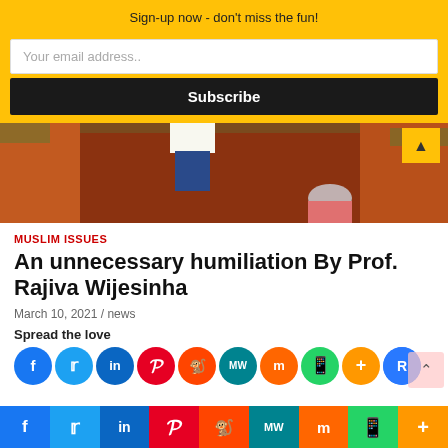Sign-up now - don't miss the fun!
Your email address..
Subscribe
[Figure (photo): Two people near a large red-clay pit or trench outdoors, one in white shirt and jeans, another with grey hair in a pink top, viewed from above]
MUSLIM ISSUES
An unnecessary humiliation By Prof. Rajiva Wijesinha
March 10, 2021 / news
Spread the love
[Figure (infographic): Social media share icons: Facebook, Twitter, LinkedIn, Pinterest, Reddit, MeWe, Mix, WhatsApp, More, reCAPTCHA]
[Figure (infographic): Bottom social media bar: Facebook, Twitter, LinkedIn, Pinterest, Reddit, MeWe, Mix, WhatsApp, More]